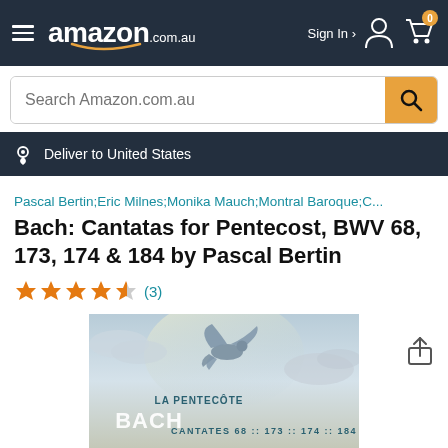amazon.com.au — Sign In — Cart (0)
Search Amazon.com.au
Deliver to United States
Pascal Bertin;Eric Milnes;Monika Mauch;Montral Baroque;C...
Bach: Cantatas for Pentecost, BWV 68, 173, 174 & 184 by Pascal Bertin
★★★★★ (3)
[Figure (photo): Album cover for Bach: Cantatas for Pentecost showing a dove in flight against a cloudy sky, with text 'LA PENTECÔTE', 'BACH', 'CANTATES 68 :: 173 :: 174 :: 184']